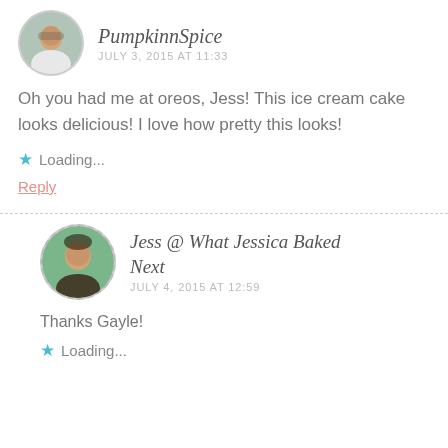[Figure (photo): Circular avatar photo of PumpkinnSpice user, showing a person outdoors]
PumpkinnSpice
JULY 3, 2015 AT 11:33
Oh you had me at oreos, Jess! This ice cream cake looks delicious! I love how pretty this looks!
Loading...
Reply
[Figure (photo): Circular avatar photo of Jess @ What Jessica Baked Next, showing a young woman]
Jess @ What Jessica Baked Next
JULY 4, 2015 AT 12:59
Thanks Gayle!
Loading...